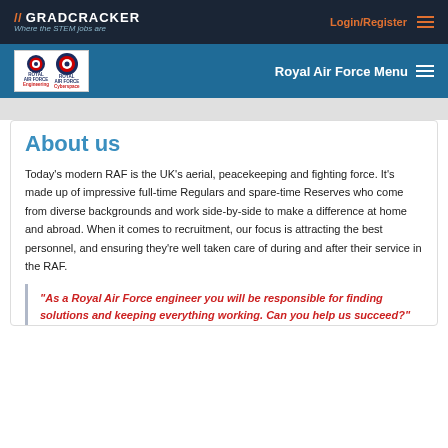// GRADCRACKER Where the STEM jobs are | Login/Register
[Figure (logo): Royal Air Force Engineering and Royal Air Force Cyberspace logos with RAF roundels, white background box]
Royal Air Force Menu
About us
Today's modern RAF is the UK's aerial, peacekeeping and fighting force. It's made up of impressive full-time Regulars and spare-time Reserves who come from diverse backgrounds and work side-by-side to make a difference at home and abroad. When it comes to recruitment, our focus is attracting the best personnel, and ensuring they're well taken care of during and after their service in the RAF.
"As a Royal Air Force engineer you will be responsible for finding solutions and keeping everything working. Can you help us succeed?"